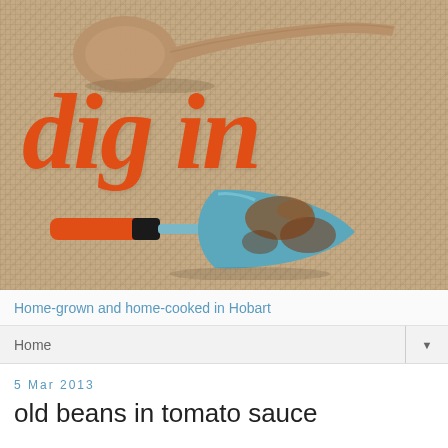[Figure (illustration): Blog header image with burlap texture background, wooden spoon in upper area, large orange italic cursive text reading 'dig in', and a turquoise/rust garden trowel in lower portion]
Home-grown and home-cooked in Hobart
Home
5 Mar 2013
old beans in tomato sauce